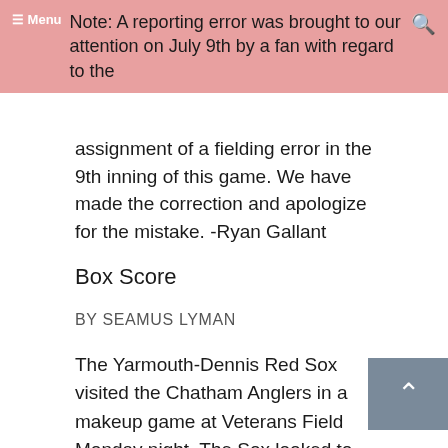Note: A reporting error was brought to our attention on July 9th by a fan with regard to the
assignment of a fielding error in the 9th inning of this game. We have made the correction and apologize for the mistake. -Ryan Gallant
Box Score
BY SEAMUS LYMAN
The Yarmouth-Dennis Red Sox visited the Chatham Anglers in a makeup game at Veterans Field Monday night. The Sox looked to work off a win over Wareham and bring their home game win streak into their road play.
Unfortunately, the Sox would lose 3-2, once